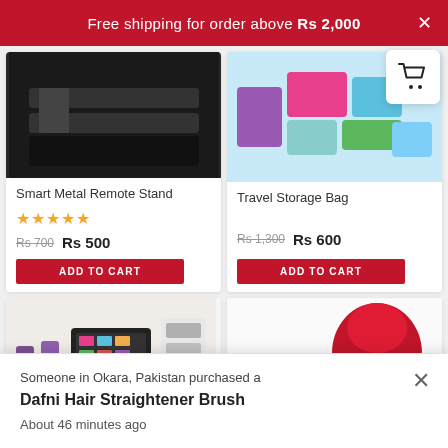Free shipping for order above Rs 2,000
Smart Metal Remote Stand
★★★★★
Rs 700  Rs 500
ADD TO CART
Travel Storage Bag
Rs 1,300  Rs 600
ADD TO CART
-17%
-50%
Someone in Okara, Pakistan purchased a
Dafni Hair Straightener Brush
About 46 minutes ago